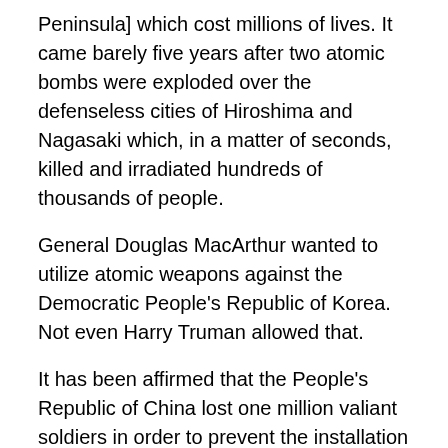Peninsula] which cost millions of lives. It came barely five years after two atomic bombs were exploded over the defenseless cities of Hiroshima and Nagasaki which, in a matter of seconds, killed and irradiated hundreds of thousands of people.
General Douglas MacArthur wanted to utilize atomic weapons against the Democratic People's Republic of Korea. Not even Harry Truman allowed that.
It has been affirmed that the People's Republic of China lost one million valiant soldiers in order to prevent the installation of an enemy army on that country's border with its homeland. For its part, the Soviet army provided weapons, air support, technological and economic aid.
I had the honor of meeting Kim Il Sung, a historic figure, notably courageous and revolutionary.